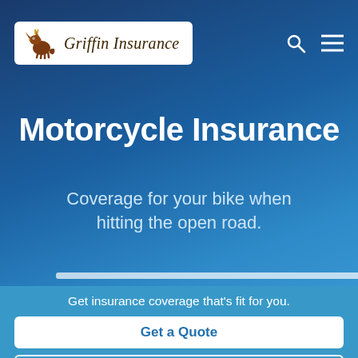[Figure (logo): Griffin Insurance logo with griffin mascot and italic serif text]
Motorcycle Insurance
Coverage for your bike when hitting the open road.
Get insurance coverage that's fit for you.
Get a Quote
Contact Us